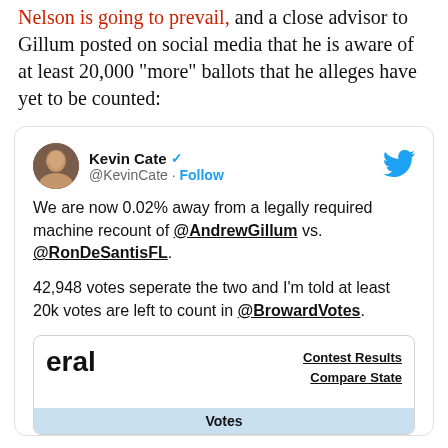Nelson is going to prevail, and a close advisor to Gillum posted on social media that he is aware of at least 20,000 “more” ballots that he alleges have yet to be counted:
[Figure (screenshot): Tweet screenshot from Kevin Cate (@KevinCate) with blue verified checkmark. Tweet reads: 'We are now 0.02% away from a legally required machine recount of @AndrewGillum vs. @RonDeSantisFL. 42,948 votes seperate the two and I’m told at least 20k votes are left to count in @BrowardVotes.' Contains a nested card showing 'eral' as partial title, 'Contest Results' and 'Compare State' links, and a 'Votes' bar at the bottom.]